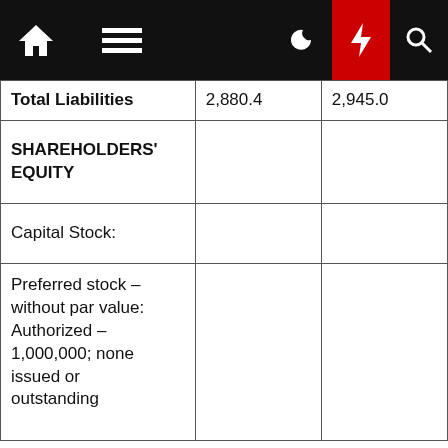|  |  |  |
| --- | --- | --- |
| Total Liabilities | 2,880.4 | 2,945.0 |
| SHAREHOLDERS' EQUITY |  |  |
| Capital Stock: |  |  |
| Preferred stock – without par value: Authorized – 1,000,000; none issued or outstanding |  |  |